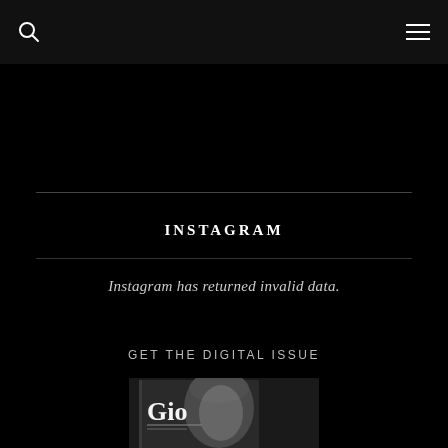INSTAGRAM
Instagram has returned invalid data.
GET THE DIGITAL ISSUE
[Figure (photo): Magazine cover of Gio magazine, grayscale photo, showing a woman's face partially visible, with the Gio logo in white serif text]